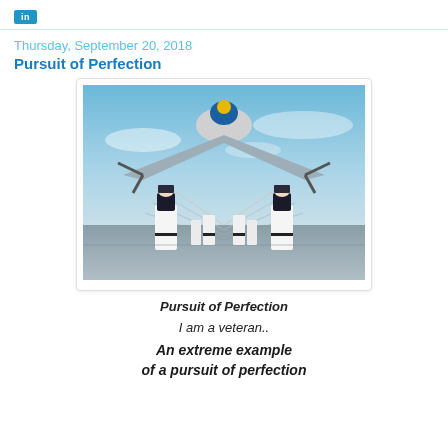Thursday, September 20, 2018
Pursuit of Perfection
[Figure (photo): Military personnel in white dress uniforms performing a precision drill with rifles on an airfield, with a large military aircraft directly behind them from a low angle perspective.]
Pursuit of Perfection
I am a veteran..
An extreme example of a pursuit of perfection